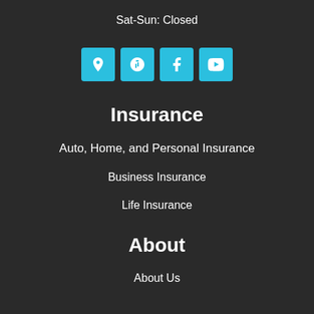Sat-Sun: Closed
[Figure (illustration): Four social media icon buttons (location pin, Yelp, Facebook, YouTube) in cyan/blue square boxes]
Insurance
Auto, Home, and Personal Insurance
Business Insurance
Life Insurance
About
About Us